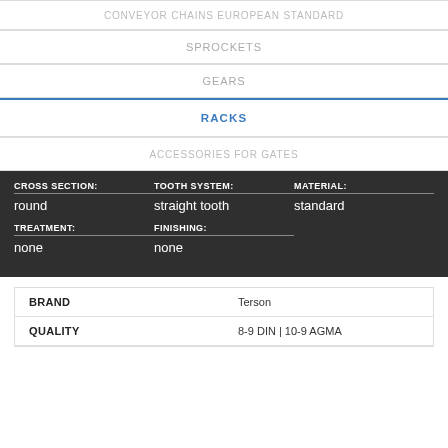CONVEYOR CHAINS EUROPEAN STANDARD
SPROCKETS
GEARS
RACKS
ACCESSORIES FOR GATES
| CROSS SECTION: | TOOTH SYSTEM: | MATERIAL: |
| --- | --- | --- |
| round | straight tooth | standard |
| TREATMENT: | FINISHING: |
| --- | --- |
| none | none |
| BRAND |  |
| --- | --- |
| BRAND | Terson |
| QUALITY | 8-9 DIN | 10-9 AGMA |